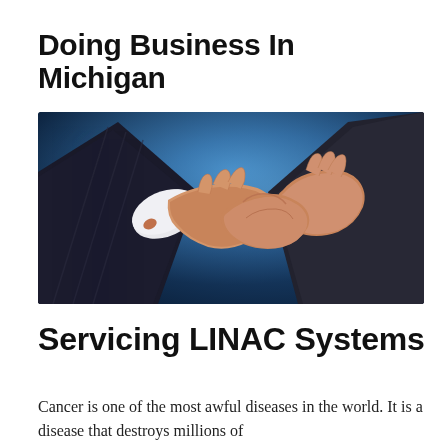Doing Business In Michigan
[Figure (photo): Two people in business suits shaking hands against a blue gradient background]
Servicing LINAC Systems
Cancer is one of the most awful diseases in the world. It is a disease that destroys millions of